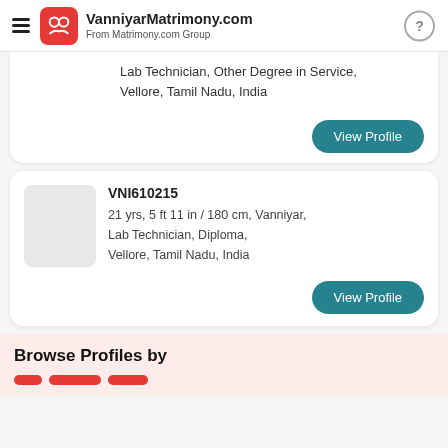VanniyarMatrimony.com
From Matrimony.com Group
Lab Technician, Other Degree in Service,
Vellore, Tamil Nadu, India
View Profile
VNI610215
21 yrs, 5 ft 11 in / 180 cm, Vanniyar,
Lab Technician, Diploma,
Vellore, Tamil Nadu, India
View Profile
Browse Profiles by